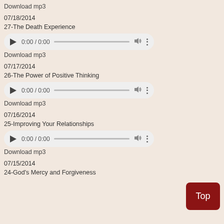Download mp3
07/18/2014
27-The Death Experience
[Figure (other): Audio player showing 0:00 / 0:00 with play button, progress bar, volume icon, and more options]
Download mp3
07/17/2014
26-The Power of Positive Thinking
[Figure (other): Audio player showing 0:00 / 0:00 with play button, progress bar, volume icon, and more options]
Download mp3
07/16/2014
25-Improving Your Relationships
[Figure (other): Audio player showing 0:00 / 0:00 with play button, progress bar, volume icon, and more options]
Download mp3
07/15/2014
24-God's Mercy and Forgiveness